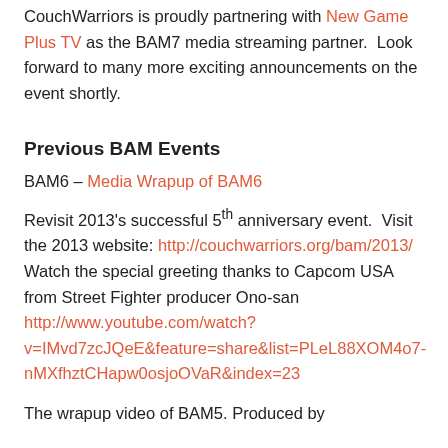CouchWarriors is proudly partnering with New Game Plus TV as the BAM7 media streaming partner.  Look forward to many more exciting announcements on the event shortly.
Previous BAM Events
BAM6 – Media Wrapup of BAM6
Revisit 2013's successful 5th anniversary event.  Visit the 2013 website: http://couchwarriors.org/bam/2013/ Watch the special greeting thanks to Capcom USA from Street Fighter producer Ono-san http://www.youtube.com/watch?v=IMvd7zcJQeE&feature=share&list=PLeL88XOM4o7-nMXfhztCHapw0osjoOVaR&index=23
The wrapup video of BAM5. Produced by